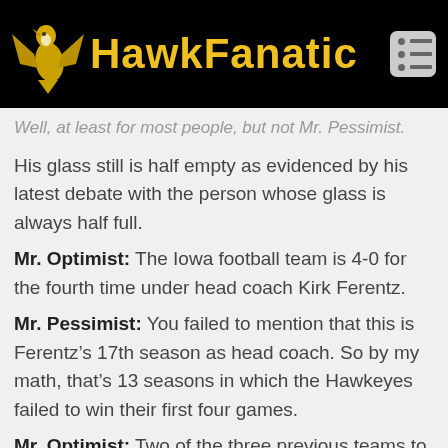HawkFanatic
Well, at least for most people, but not Mr. Pessimist.
His glass still is half empty as evidenced by his latest debate with the person whose glass is always half full.
Mr. Optimist: The Iowa football team is 4-0 for the fourth time under head coach Kirk Ferentz.
Mr. Pessimist: You failed to mention that this is Ferentz’s 17th season as head coach. So by my math, that’s 13 seasons in which the Hawkeyes failed to win their first four games.
Mr. Optimist: Two of the three previous teams to start 4-0 under Ferentz finished with 10 and 11 wins, respectively, in